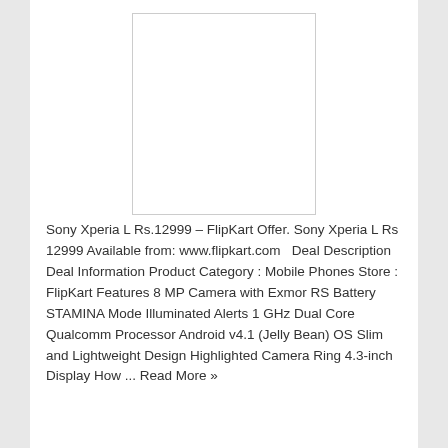[Figure (photo): White rectangular product image placeholder box with border]
Sony Xperia L Rs.12999 – FlipKart Offer. Sony Xperia L Rs 12999 Available from: www.flipkart.com   Deal Description Deal Information Product Category : Mobile Phones Store : FlipKart Features 8 MP Camera with Exmor RS Battery STAMINA Mode Illuminated Alerts 1 GHz Dual Core Qualcomm Processor Android v4.1 (Jelly Bean) OS Slim and Lightweight Design Highlighted Camera Ring 4.3-inch Display How ... Read More »